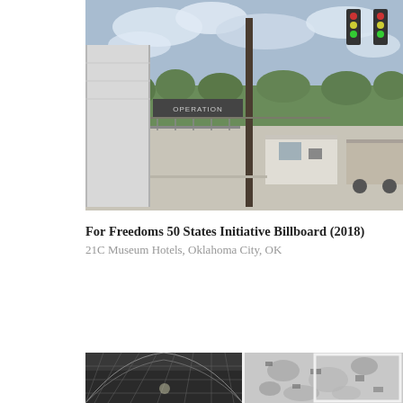[Figure (photo): Photograph of an industrial or commercial area with a metal building, a security booth or kiosk, utility poles with traffic lights, and open parking/concrete area under a partly cloudy sky.]
For Freedoms 50 States Initiative Billboard (2018)
21C Museum Hotels, Oklahoma City, OK
[Figure (photo): Two black and white photographs side by side: left shows an interior architectural space with a curved lattice or net ceiling; right shows an aerial or textural abstract black and white image.]